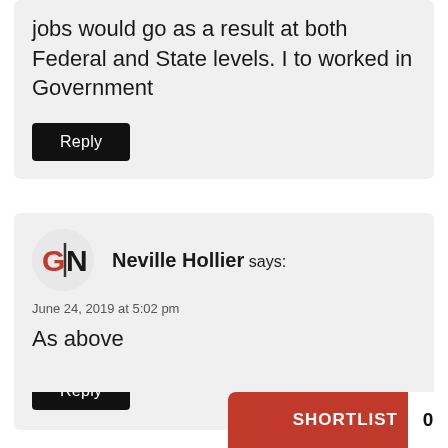jobs would go as a result at both Federal and State levels. I to worked in Government
Reply
[Figure (logo): GN logo — red G and black N on white circle background]
Neville Hollier says:
June 24, 2019 at 5:02 pm
As above
Reply
SHORTLIST 0